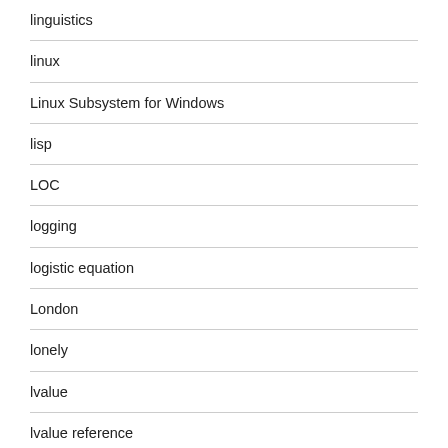linguistics
linux
Linux Subsystem for Windows
lisp
LOC
logging
logistic equation
London
lonely
lvalue
lvalue reference